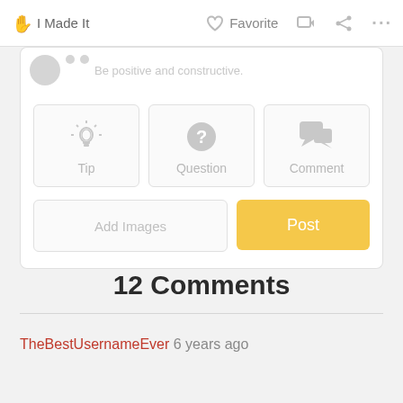I Made It   Favorite   ...
[Figure (screenshot): Comment input UI with Tip, Question, Comment type buttons; Add Images button and Post button]
12 Comments
TheBestUsernameEver 6 years ago